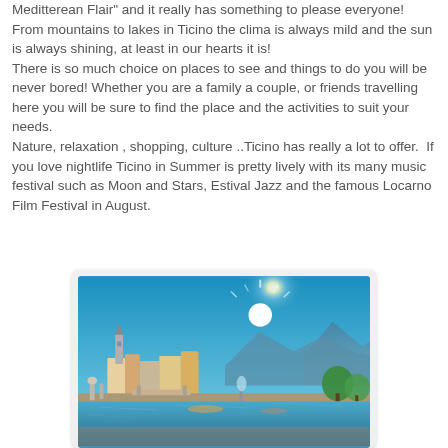Meditterean Flair" and it really has something to please everyone! From mountains to lakes in Ticino the clima is always mild and the sun is always shining, at least in our hearts it is!
There is so much choice on places to see and things to do you will be never bored! Whether you are a family a couple, or friends travelling here you will be sure to find the place and the activities to suit your needs.
Nature, relaxation , shopping, culture ..Ticino has really a lot to offer.  If you love nightlife Ticino in Summer is pretty lively with its many music festival such as Moon and Stars, Estival Jazz and the famous Locarno Film Festival in August.
[Figure (photo): Photograph of Locarno or a Ticino lakeside town showing a sunny waterfront with a church tower, colourful buildings, mountains in the background, a bridge, boats, and green trees under bright sunlight.]